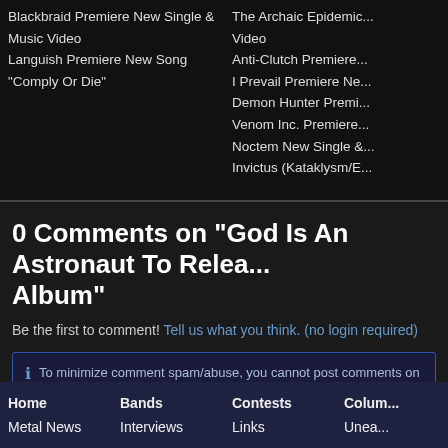Blackbraid Premiere New Single & Music Video
Languish Premiere New Song "Comply Or Die"
The Archaic Epidemic... Video
Anti-Clutch Premiere...
I Prevail Premiere Ne...
Demon Hunter Premi...
Venom Inc. Premiere...
Noctem New Single &...
Invictus (Kataklysm/E...
0 Comments on "God Is An Astronaut To Relea... Album"
Be the first to comment! Tell us what you think. (no login required)
To minimize comment spam/abuse, you cannot post comments on arti... check the sidebar to the right or the related band pages for recent rela...
Home  Bands  Contests  Colum...
Metal News  Interviews  Links  Unea...